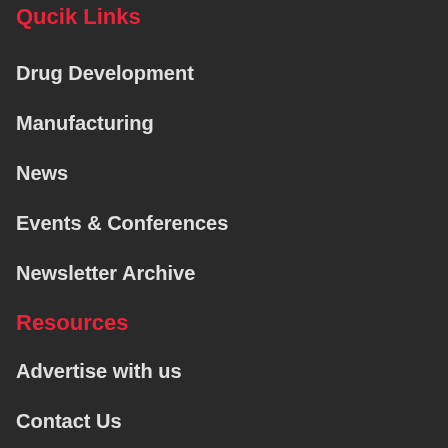Quick Links
Drug Development
Manufacturing
News
Events & Conferences
Newsletter Archive
Resources
Advertise with us
Contact Us
Download Mediapack
System
Search